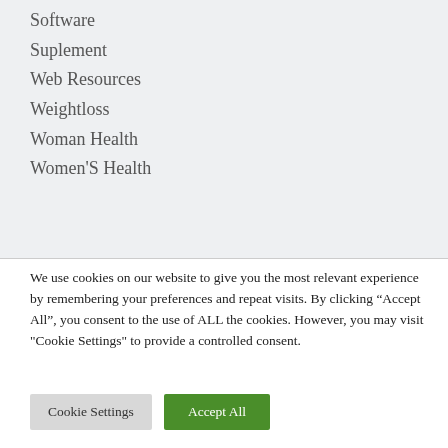Software
Suplement
Web Resources
Weightloss
Woman Health
Women'S Health
We use cookies on our website to give you the most relevant experience by remembering your preferences and repeat visits. By clicking “Accept All”, you consent to the use of ALL the cookies. However, you may visit "Cookie Settings" to provide a controlled consent.